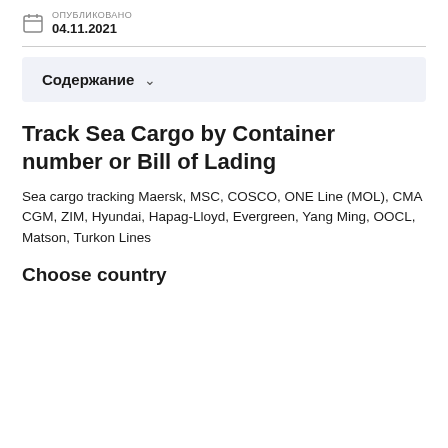ОПУБЛИКОВАНО 04.11.2021
Содержание
Track Sea Cargo by Container number or Bill of Lading
Sea cargo tracking Maersk, MSC, COSCO, ONE Line (MOL), CMA CGM, ZIM, Hyundai, Hapag-Lloyd, Evergreen, Yang Ming, OOCL, Matson, Turkon Lines
Choose country